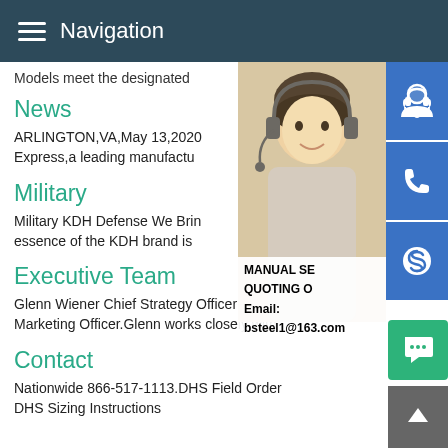Navigation
Models meet the designated
News
ARLINGTON,VA,May 13,2020 Express,a leading manufactu
Military
Military KDH Defense We Brin essence of the KDH brand is
[Figure (photo): Customer service representative woman with headset, with blue icon buttons for support, phone, and Skype on the right side. Overlay text: MANUAL SE... QUOTING O... Email: bsteel1@163.com]
Executive Team
Glenn Wiener Chief Strategy Officer and Chief Marketing Officer.Glenn works closely with
Contact
Nationwide 866-517-1113.DHS Field Order DHS Sizing Instructions